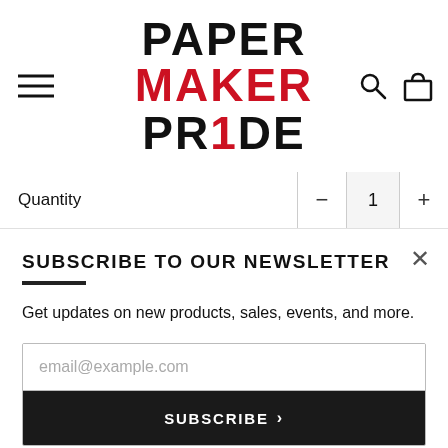[Figure (logo): Paper Maker Pride logo - bold text with PAPER in black, MAKER in red, PR1DE in black with red 1]
Quantity
SUBSCRIBE TO OUR NEWSLETTER
Get updates on new products, sales, events, and more.
email@example.com
SUBSCRIBE >